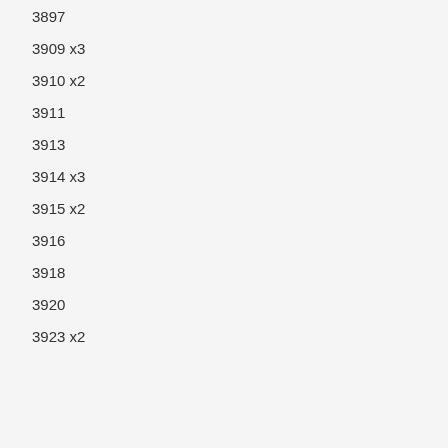3897
3909 x3
3910 x2
3911
3913
3914 x3
3915 x2
3916
3918
3920
3923 x2